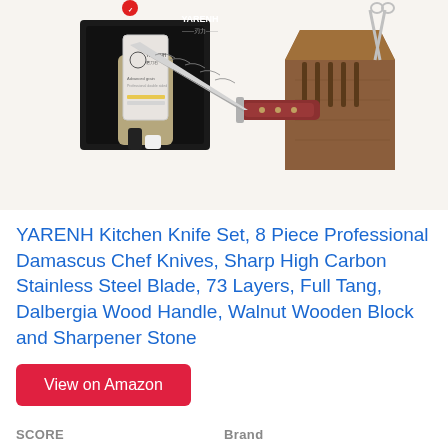[Figure (photo): Product photo of YARENH kitchen knife set showing Damascus chef knives in a walnut wooden block, a sharpener stone on a bamboo stand, and accompanying accessories on a white background, with YARENH branded packaging in the background.]
YARENH Kitchen Knife Set, 8 Piece Professional Damascus Chef Knives, Sharp High Carbon Stainless Steel Blade, 73 Layers, Full Tang, Dalbergia Wood Handle, Walnut Wooden Block and Sharpener Stone
View on Amazon
SCORE
Brand